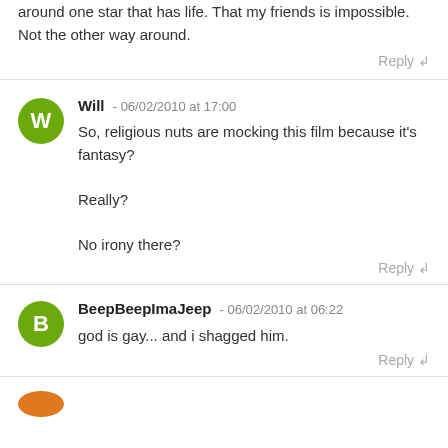around one star that has life. That my friends is impossible. Not the other way around.
Reply
Will - 06/02/2010 at 17:00
So, religious nuts are mocking this film because it's fantasy?

Really?

No irony there?
Reply
BeepBeepImaJeep - 06/02/2010 at 06:22
god is gay... and i shagged him.
Reply